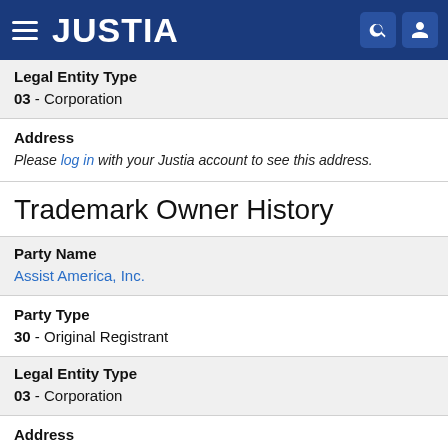JUSTIA
Legal Entity Type
03 - Corporation
Address
Please log in with your Justia account to see this address.
Trademark Owner History
Party Name
Assist America, Inc.
Party Type
30 - Original Registrant
Legal Entity Type
03 - Corporation
Address